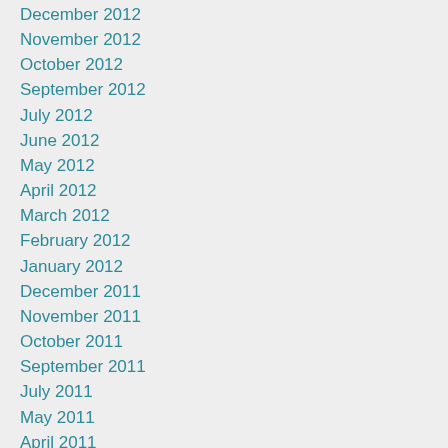December 2012
November 2012
October 2012
September 2012
July 2012
June 2012
May 2012
April 2012
March 2012
February 2012
January 2012
December 2011
November 2011
October 2011
September 2011
July 2011
May 2011
April 2011
March 2011
February 2011
January 2011
December 2010